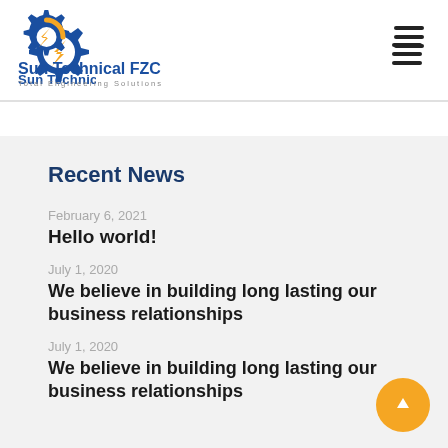[Figure (logo): Sun Technical FZC logo with gear icon in blue and orange, tagline 'Total Engineering Solutions']
Recent News
February 6, 2021
Hello world!
July 1, 2020
We believe in building long lasting our business relationships
July 1, 2020
We believe in building long lasting our business relationships